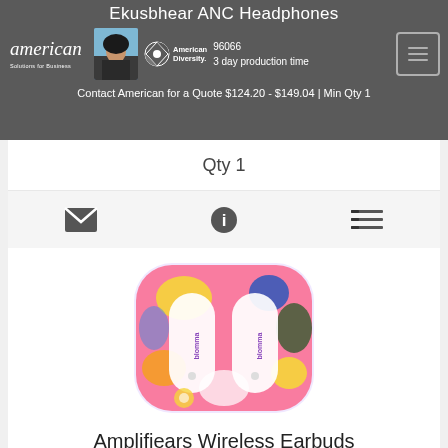Ekusbhear ANC Headphones
[Figure (logo): American Solutions for Business logo with cursive text]
[Figure (photo): Person photo headshot]
[Figure (logo): American Diversity logo with circular icon]
96066
3 day production time
Contact American for a Quote $124.20 - $149.04 | Min Qty 1
[Figure (other): Icon bar with envelope, info, and list icons]
[Figure (photo): Amplifiears Wireless Earbuds product image - colorful floral pattern earbud case in pink, yellow, blue and green]
Amplifiears Wireless Earbuds
# 98290 98290
3 day production time